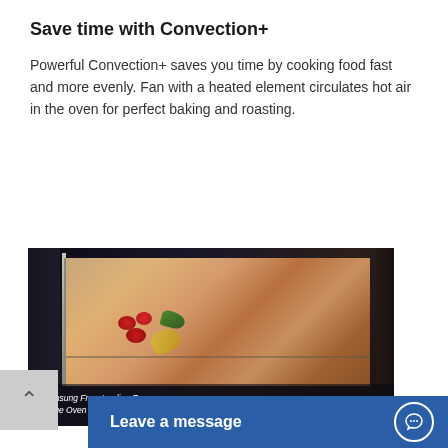Save time with Convection+
Powerful Convection+ saves you time by cooking food fast and more evenly. Fan with a heated element circulates hot air in the oven for perfect baking and roasting.
[Figure (photo): Samsung oven with glass door showing vegetables including tomatoes and peppers roasting inside. Caption reads: Samsung Freestanding Range Large Oven Capacity]